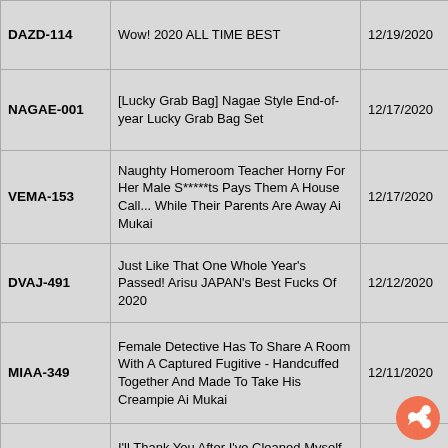| Code | Title | Date |
| --- | --- | --- |
| DAZD-114 | Wow! 2020 ALL TIME BEST | 12/19/2020 |
| NAGAE-001 | [Lucky Grab Bag] Nagae Style End-of-year Lucky Grab Bag Set | 12/17/2020 |
| VEMA-153 | Naughty Homeroom Teacher Horny For Her Male S*****ts Pays Them A House Call... While Their Parents Are Away Ai Mukai | 12/17/2020 |
| DVAJ-491 | Just Like That One Whole Year's Passed! Arisu JAPAN's Best Fucks Of 2020 | 12/12/2020 |
| MIAA-349 | Female Detective Has To Share A Room With A Captured Fugitive - Handcuffed Together And Made To Take His Creampie Ai Mukai | 12/11/2020 |
| DASD-769 | I'll Thank You After I've Cleaned Myself Up... A Married Woman Who Was Waiting For A Miracle, And Seems Like She Ran Away From Home. Aoi Mukai | 12/11/2020 |
| JUFE-237 | Stare Up At A Big Booty Slut While She Controls You With Dirty Talk - The Ultimate POV Footage For Your Best Nut-Busting Experience With JOI Ai Mukai | 12/11/2020 |
|  | Goddess-Like Office Lady In Glasses, Ai Mukai - In Suit, Glasses, And With Her Beautiful Legs Wrapped In Sexy Pantyhose, Enjoy Every Part Of Her From The Sweet... |  |